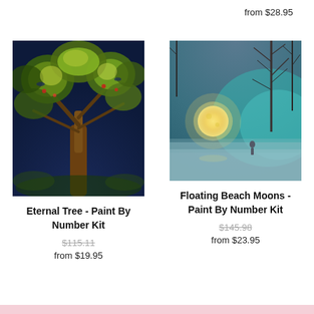from $28.95
[Figure (photo): Painting of a lush tree with green and gold foliage on a dark navy background, William Morris style tapestry art]
Eternal Tree - Paint By Number Kit
$115.11 (strikethrough)
from $19.95
[Figure (photo): Fantasy scene of a person standing on a misty beach facing a large glowing moon, with bare trees silhouetted against a teal/blue foggy background]
Floating Beach Moons - Paint By Number Kit
$145.98 (strikethrough)
from $23.95